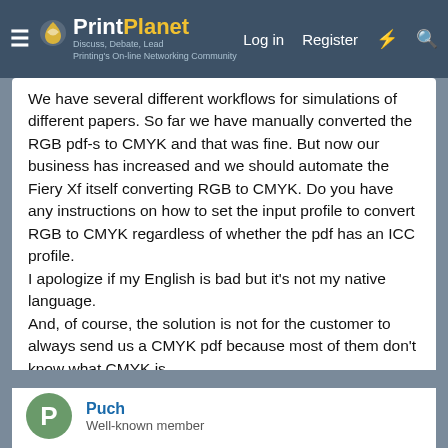PrintPlanet – Discuss, Debate, Lead – Printing's On-line Networking Community | Log in | Register
We have several different workflows for simulations of different papers. So far we have manually converted the RGB pdf-s to CMYK and that was fine. But now our business has increased and we should automate the Fiery Xf itself converting RGB to CMYK. Do you have any instructions on how to set the input profile to convert RGB to CMYK regardless of whether the pdf has an ICC profile.
I apologize if my English is bad but it's not my native language.
And, of course, the solution is not for the customer to always send us a CMYK pdf because most of them don't know what CMYK is.
Btw, as an imposition workflow we use Agfa Apogee and their renders very well convert RGB to CMYK.
Greetings from Croatia!!
Puch
Well-known member